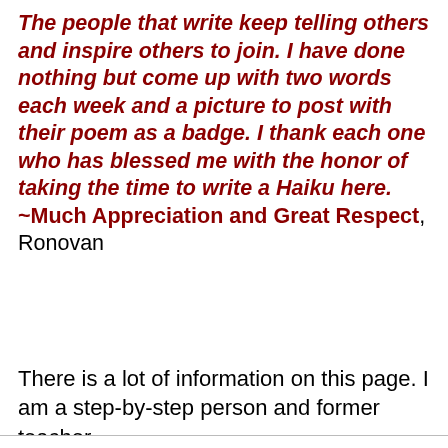The people that write keep telling others and inspire others to join. I have done nothing but come up with two words each week and a picture to post with their poem as a badge. I thank each one who has blessed me with the honor of taking the time to write a Haiku here. ~Much Appreciation and Great Respect, Ronovan
There is a lot of information on this page. I am a step-by-step person and former teacher
Privacy & Cookies: This site uses cookies. By continuing to use this website, you agree to their use. To find out more, including how to control cookies, see here: Cookie Policy
Close and accept
If things are not clear once you finish reading